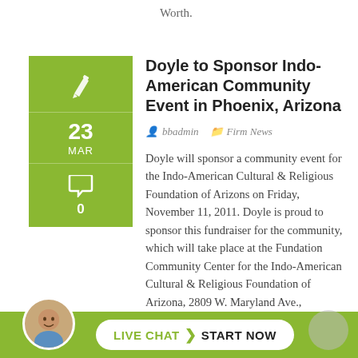Worth.
Doyle to Sponsor Indo-American Community Event in Phoenix, Arizona
bbadmin   Firm News
Doyle will sponsor a community event for the Indo-American Cultural & Religious Foundation of Arizons on Friday, November 11, 2011. Doyle is proud to sponsor this fundraiser for the community, which will take place at the Fundation Community Center for the Indo-American Cultural & Religious Foundation of Arizona, 2809 W. Maryland Ave., Phoenix, Arizona.
LIVE CHAT  START NOW